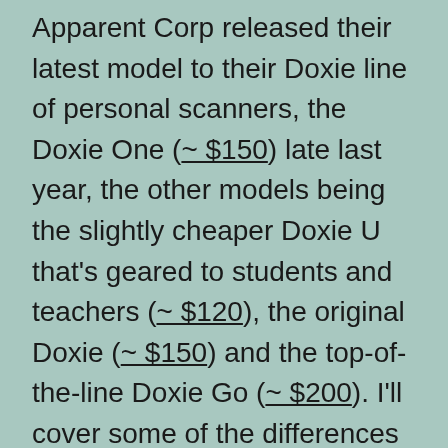Apparent Corp released their latest model to their Doxie line of personal scanners, the Doxie One (~ $150) late last year, the other models being the slightly cheaper Doxie U that's geared to students and teachers (~ $120), the original Doxie (~ $150) and the top-of-the-line Doxie Go (~ $200). I'll cover some of the differences later.
The Doxie One is a svelte 10.5″ long, 2.2″ wide, 1.7″ tall and weighs less than 1 lb (take a look at the photo for an idea of its size). For power, you can either plug in the power adapter or throw in 4 Ni-MH AAA batteries.